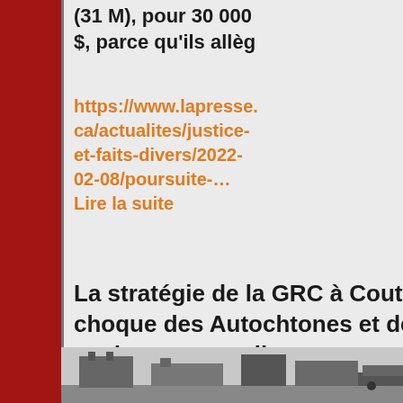(31 M), pour 30 000 $, parce qu'ils allèg
https://www.lapresse.ca/actualites/justice-et-faits-divers/2022-02-08/poursuite-…
Lire la suite
La stratégie de la GRC à Coutts choque des Autochtones et des environnementalistes
[Figure (photo): Black and white photo of a building or vehicle at bottom of page]